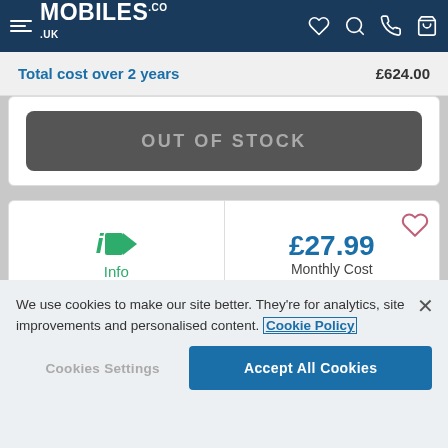MOBILES.CO.UK
Total cost over 2 years £624.00
OUT OF STOCK
[Figure (logo): iD Mobile logo with stylised i and D arrow mark, with 'Info' text below in green]
£27.99 Monthly Cost
Unlimited Minutes & Texts
Unlimited Data
We use cookies to make our site better. They're for analytics, site improvements and personalised content. Cookie Policy
Cookies Settings
Accept All Cookies